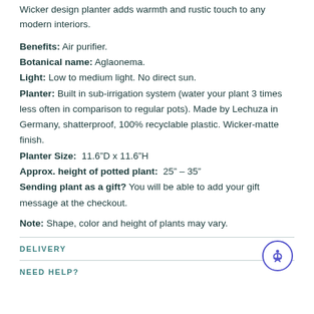Wicker design planter adds warmth and rustic touch to any modern interiors.
Benefits: Air purifier.
Botanical name: Aglaonema.
Light: Low to medium light. No direct sun.
Planter: Built in sub-irrigation system (water your plant 3 times less often in comparison to regular pots). Made by Lechuza in Germany, shatterproof, 100% recyclable plastic. Wicker-matte finish.
Planter Size: 11.6”D x 11.6”H
Approx. height of potted plant: 25” – 35”
Sending plant as a gift? You will be able to add your gift message at the checkout.
Note: Shape, color and height of plants may vary.
DELIVERY
NEED HELP?